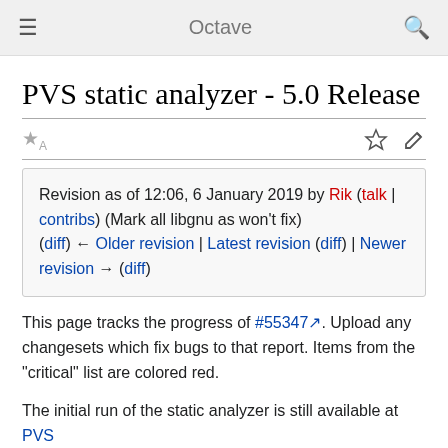≡  Octave  🔍
PVS static analyzer - 5.0 Release
Revision as of 12:06, 6 January 2019 by Rik (talk | contribs) (Mark all libgnu as won't fix)
(diff) ← Older revision | Latest revision (diff) | Newer revision → (diff)
This page tracks the progress of #55347. Upload any changesets which fix bugs to that report. Items from the "critical" list are colored red.
The initial run of the static analyzer is still available at PVS